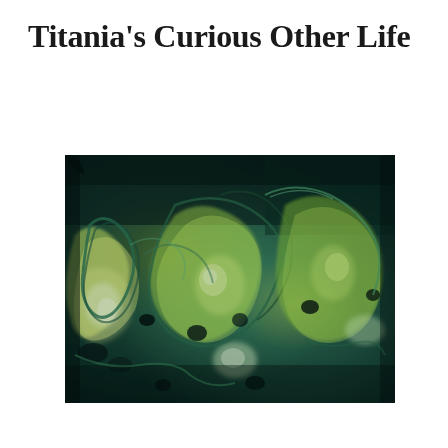Titania's Curious Other Life
[Figure (photo): An abstract photograph with a teal/dark green and yellow-green color palette, showing what appears to be translucent, fluid or glassy sculptural forms with organic, swirling shapes against a dark background.]